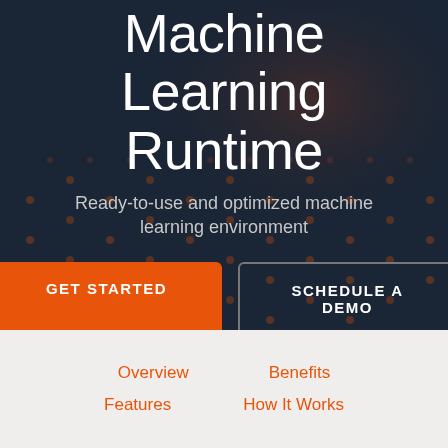Machine Learning Runtime
Ready-to-use and optimized machine learning environment
GET STARTED
SCHEDULE A DEMO
Overview
Benefits
Features
How It Works